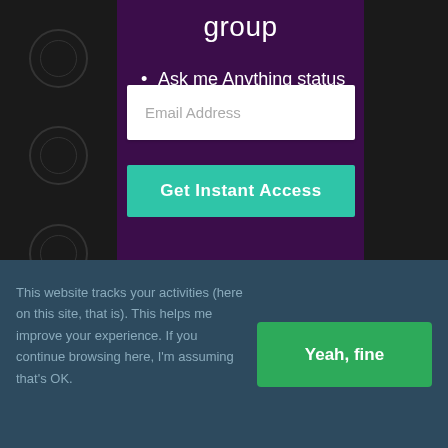group
Ask me Anything status by email
Email Address
Get Instant Access
This website tracks your activities (here on this site, that is). This helps me improve your experience. If you continue browsing here, I'm assuming that's OK.
Yeah, fine